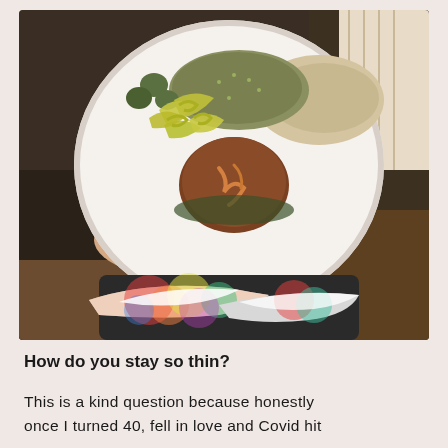[Figure (photo): An overhead photo of a white plate held in someone's hand, containing a Mediterranean-style meal with olives, pickled peppers, tabbouleh or grain salad, hummus, and a piece of fried or roasted meat with sauce. Below the plate, colorful patterned sneakers (Nike) are visible on someone's feet, sitting in a chair.]
How do you stay so thin?
This is a kind question because honestly once I turned 40, fell in love and Covid hit